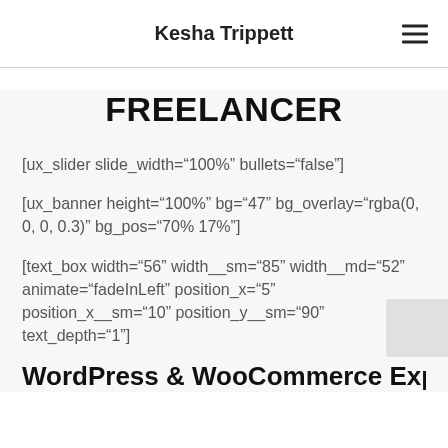Kesha Trippett
FREELANCER
[ux_slider slide_width="100%" bullets="false"]
[ux_banner height="100%" bg="47" bg_overlay="rgba(0, 0, 0, 0.3)" bg_pos="70% 17%"]
[text_box width="56" width__sm="85" width__md="52" animate="fadeInLeft" position_x="5" position_x__sm="10" position_y__sm="90" text_depth="1"]
WordPress & WooCommerce Expert